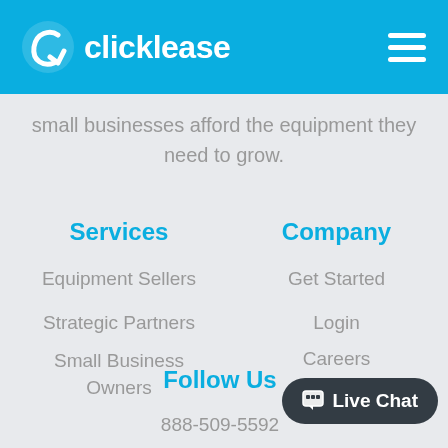clicklease
small businesses afford the equipment they need to grow.
Services
Company
Equipment Sellers
Get Started
Strategic Partners
Login
Small Business Owners
Careers
Follow Us
888-509-5592